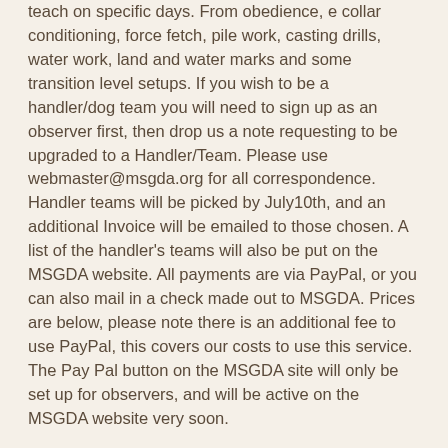teach on specific days. From obedience, e collar conditioning, force fetch, pile work, casting drills, water work, land and water marks and some transition level setups. If you wish to be a handler/dog team you will need to sign up as an observer first, then drop us a note requesting to be upgraded to a Handler/Team. Please use webmaster@msgda.org for all correspondence. Handler teams will be picked by July10th, and an additional Invoice will be emailed to those chosen. A list of the handler's teams will also be put on the MSGDA website. All payments are via PayPal, or you can also mail in a check made out to MSGDA. Prices are below, please note there is an additional fee to use PayPal, this covers our costs to use this service. The Pay Pal button on the MSGDA site will only be set up for observers, and will be active on the MSGDA website very soon.
Handler / dog team $200 Check/$215 PayPal (all handler spots are full)